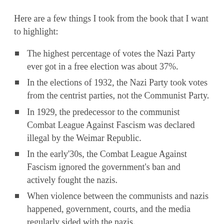Here are a few things I took from the book that I want to highlight:
The highest percentage of votes the Nazi Party ever got in a free election was about 37%.
In the elections of 1932, the Nazi Party took votes from the centrist parties, not the Communist Party.
In 1929, the predecessor to the communist Combat League Against Fascism was declared illegal by the Weimar Republic.
In the early'30s, the Combat League Against Fascism ignored the government's ban and actively fought the nazis.
When violence between the communists and nazis happened, government, courts, and the media regularly sided with the nazis.
President Paul Von Hindenburg named Hitler chancellor and effectively gave him control over the